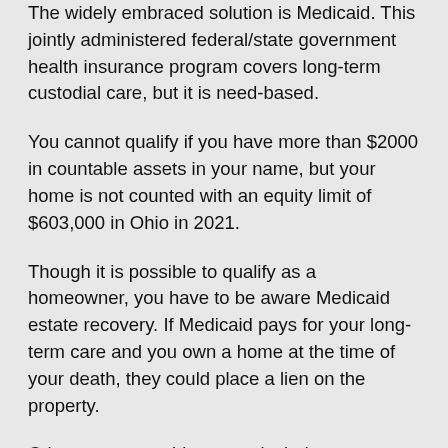The widely embraced solution is Medicaid. This jointly administered federal/state government health insurance program covers long-term custodial care, but it is need-based.
You cannot qualify if you have more than $2000 in countable assets in your name, but your home is not counted with an equity limit of $603,000 in Ohio in 2021.
Though it is possible to qualify as a homeowner, you have to be aware Medicaid estate recovery. If Medicaid pays for your long-term care and you own a home at the time of your death, they could place a lien on the property.
Other non-countable assets include a motor vehicle, their primary home, and liabilities, and